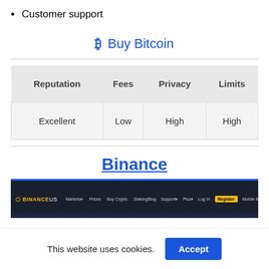Customer support
₿ Buy Bitcoin
| Reputation | Fees | Privacy | Limits |
| --- | --- | --- | --- |
| Excellent | Low | High | High |
Binance
[Figure (screenshot): Screenshot of the Binance US website navigation bar with dark background, showing menu items: Markets, Prices, Buy Crypto, Staking, Blog, Support, Plus, Log In, Register (highlighted in yellow), Mobile App]
This website uses cookies.
Accept